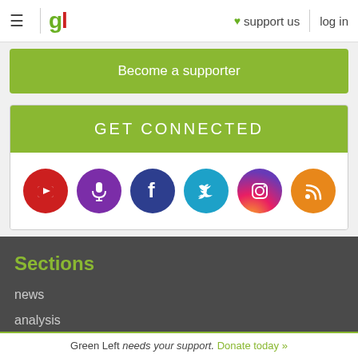gl | ♥ support us | log in
Become a supporter
GET CONNECTED
[Figure (infographic): Six social media icons in circles: YouTube (red), Podcast/microphone (purple), Facebook (dark blue), Twitter (blue), Instagram (gradient), RSS (orange)]
Sections
news
analysis
Green Left needs your support. Donate today »